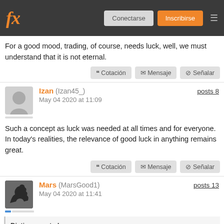fx — Conectarse  Inscribirse
For a good mood, trading, of course, needs luck, well, we must understand that it is not eternal.
« Cotación   ✉ Mensaje   ⊘ Señalar
Izan (Izan45_)   posts 8
May 04 2020 at 11:09
Such a concept as luck was needed at all times and for everyone. In today's realities, the relevance of good luck in anything remains great.
« Cotación   ✉ Mensaje   ⊘ Señalar
Mars (MarsGood1)   posts 13
May 04 2020 at 11:41
Dictiony posted:
Luck is important in our life but as a trader's career is concerned luck has no meaning in traders survival in Forex. The market doesn't know who we are from where we belong too, to know each other